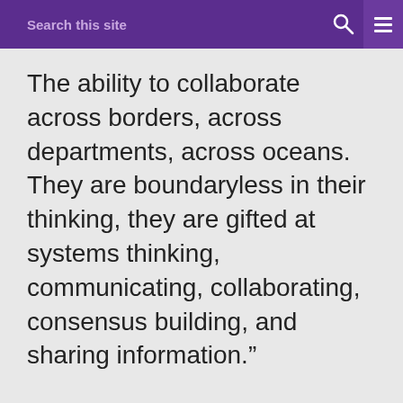Search this site
The ability to collaborate across borders, across departments, across oceans. They are boundaryless in their thinking, they are gifted at systems thinking, communicating, collaborating, consensus building, and sharing information.”